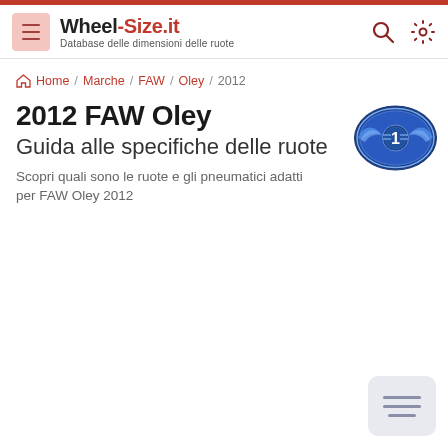Wheel-Size.it — Database delle dimensioni delle ruote
Home / Marche / FAW / Oley / 2012
2012 FAW Oley
Guida alle specifiche delle ruote
Scopri quali sono le ruote e gli pneumatici adatti per FAW Oley 2012
[Figure (logo): FAW brand logo — blue oval with wings and number 1]